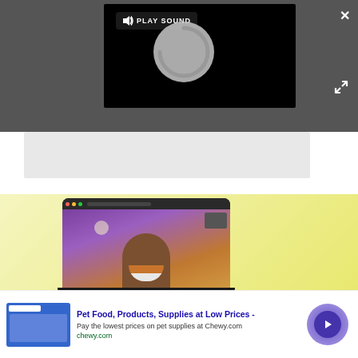[Figure (screenshot): Video player overlay on dark gray background showing a loading spinner and 'PLAY SOUND' button with speaker icon. Top-right shows a white X close button and a resize/expand icon below it.]
[Figure (screenshot): Light gray placeholder content area below the video overlay.]
[Figure (screenshot): Advertisement banner with yellow background showing a laptop with a video call (smiling person) on screen. Below is a Chewy.com ad: 'Pet Food, Products, Supplies at Low Prices - Pay the lowest prices on pet supplies at Chewy.com' with chewy.com link, AdChoices icon, and a purple circular next arrow button.]